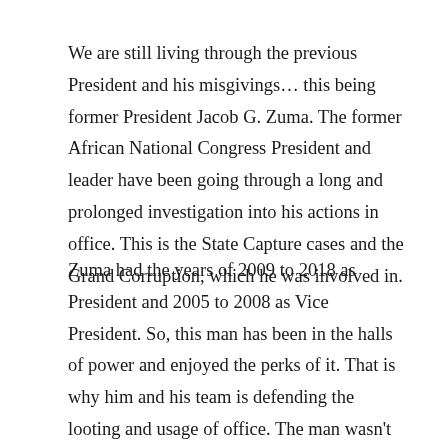We are still living through the previous President and his misgivings… this being former President Jacob G. Zuma. The former African National Congress President and leader have been going through a long and prolonged investigation into his actions in office. This is the State Capture cases and the Grand Corruption, which he was involved in.
Zuma had the years of 2009 to 2018 as President and 2005 to 2008 as Vice President. So, this man has been in the halls of power and enjoyed the perks of it. That is why him and his team is defending the looting and usage of office. The man wasn't born with a silver-spoon, neither was a inventor or a serial entrepreneur. No, he was a career politician who rise up through the ranks of the ANC. This